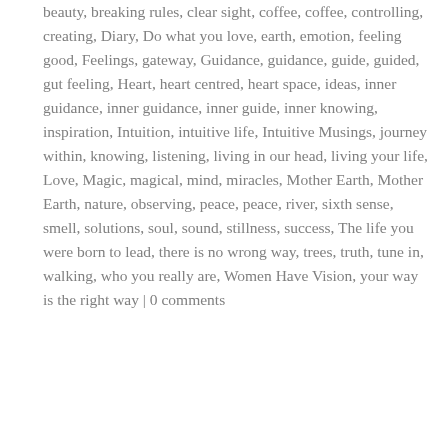beauty, breaking rules, clear sight, coffee, coffee, controlling, creating, Diary, Do what you love, earth, emotion, feeling good, Feelings, gateway, Guidance, guidance, guide, guided, gut feeling, Heart, heart centred, heart space, ideas, inner guidance, inner guidance, inner guide, inner knowing, inspiration, Intuition, intuitive life, Intuitive Musings, journey within, knowing, listening, living in our head, living your life, Love, Magic, magical, mind, miracles, Mother Earth, Mother Earth, nature, observing, peace, peace, river, sixth sense, smell, solutions, soul, sound, stillness, success, The life you were born to lead, there is no wrong way, trees, truth, tune in, walking, who you really are, Women Have Vision, your way is the right way | 0 comments